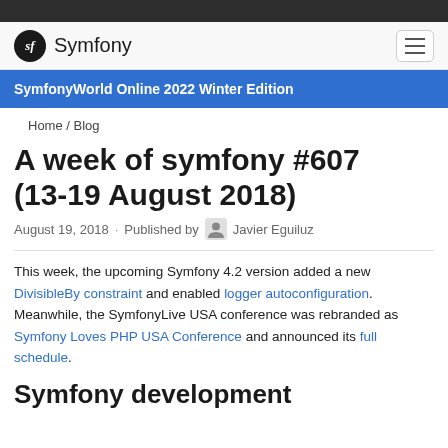Symfony
SymfonyWorld Online 2022 Winter Edition
Home / Blog
A week of symfony #607 (13-19 August 2018)
August 19, 2018 · Published by Javier Eguiluz
This week, the upcoming Symfony 4.2 version added a new DivisibleBy constraint and enabled logger autoconfiguration. Meanwhile, the SymfonyLive USA conference was rebranded as Symfony Loves PHP USA Conference and announced its full schedule.
Symfony development